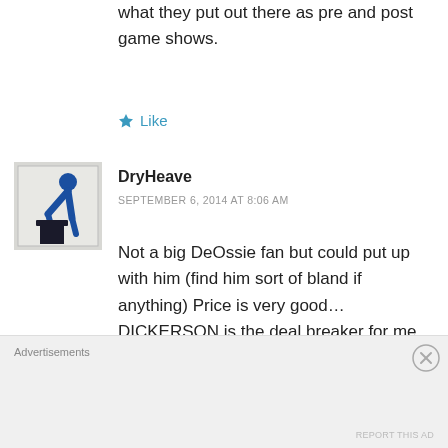what they put out there as pre and post game shows.
★ Like
DryHeave
SEPTEMBER 6, 2014 AT 8:06 AM
[Figure (illustration): Avatar icon of a person bending over a trash can, blue icon on light background]
Not a big DeOssie fan but could put up with him (find him sort of bland if anything) Price is very good… DICKERSON is the deal breaker for me… *tyrant* another show ruined
Advertisements
REPORT THIS AD